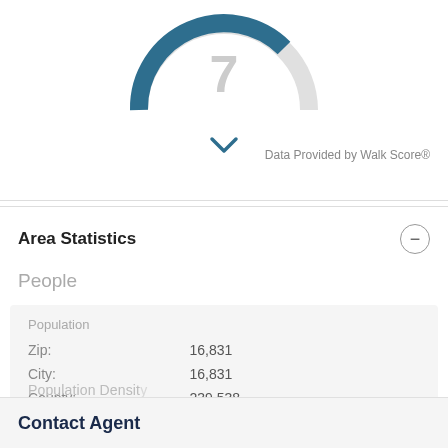[Figure (other): Partial donut chart cropped at top showing a circular score indicator in teal/dark blue color, partially visible with number inside]
[Figure (other): Blue downward chevron/arrow icon]
Data Provided by Walk Score®
Area Statistics
People
| Population |  |
| Zip: | 16,831 |
| City: | 16,831 |
| County: | 239,538 |
| National: | 331,426,769 |
Population Density
Contact Agent